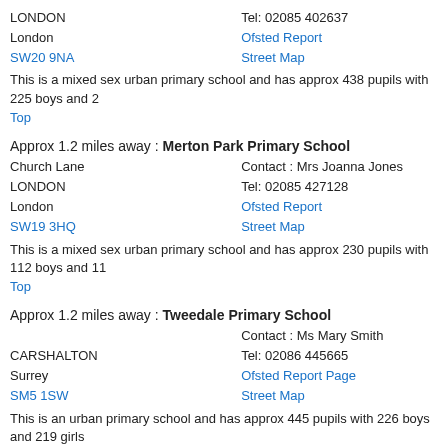LONDON
Tel: 02085 402637
London
Ofsted Report
SW20 9NA
Street Map
This is a mixed sex urban primary school and has approx 438 pupils with 225 boys and 2...
Top
Approx 1.2 miles away : Merton Park Primary School
Church Lane
Contact : Mrs Joanna Jones
LONDON
Tel: 02085 427128
London
Ofsted Report
SW19 3HQ
Street Map
This is a mixed sex urban primary school and has approx 230 pupils with 112 boys and 11...
Top
Approx 1.2 miles away : Tweedale Primary School
Contact : Ms Mary Smith
CARSHALTON
Tel: 02086 445665
Surrey
Ofsted Report Page
SM5 1SW
Street Map
This is an urban primary school and has approx 445 pupils with 226 boys and 219 girls
Top
Approx 1.3 miles away : Westbourne Primary School
Anton Crescent
Contact : Mr M J Hiley
Collingwood Road
Tel: 02086 448453
SUTTON